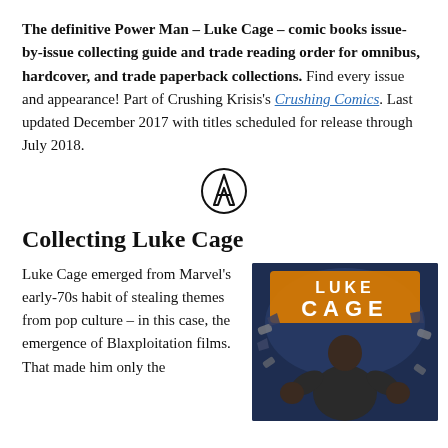The definitive Power Man – Luke Cage – comic books issue-by-issue collecting guide and trade reading order for omnibus, hardcover, and trade paperback collections. Find every issue and appearance! Part of Crushing Krisis's Crushing Comics. Last updated December 2017 with titles scheduled for release through July 2018.
[Figure (illustration): Avengers 'A' logo symbol in black]
Collecting Luke Cage
Luke Cage emerged from Marvel's early-70s habit of stealing themes from pop culture – in this case, the emergence of Blaxploitation films. That made him only the
[Figure (photo): Luke Cage comic book cover art showing a muscular man with the title 'Luke Cage' in orange letters against a dark blue background with chain-breaking imagery]